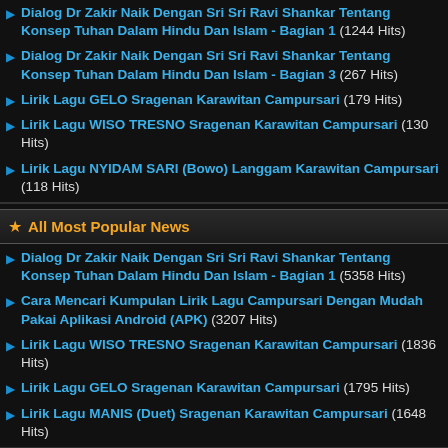Dialog Dr Zakir Naik Dengan Sri Sri Ravi Shankar Tentang Konsep Tuhan Dalam Hindu Dan Islam - Bagian 1 (1244 Hits)
Dialog Dr Zakir Naik Dengan Sri Sri Ravi Shankar Tentang Konsep Tuhan Dalam Hindu Dan Islam - Bagian 3 (267 Hits)
Lirik Lagu GELO Sragenan Karawitan Campursari (179 Hits)
Lirik Lagu WISO TRESNO Sragenan Karawitan Campursari (130 Hits)
Lirik Lagu NYIDAM SARI (Bowo) Langgam Karawitan Campursari (118 Hits)
All Most Popular News
Dialog Dr Zakir Naik Dengan Sri Sri Ravi Shankar Tentang Konsep Tuhan Dalam Hindu Dan Islam - Bagian 1 (5358 Hits)
Cara Mencari Kumpulan Lirik Lagu Campursari Dengan Mudah Pakai Aplikasi Android (APK) (3207 Hits)
Lirik Lagu WISO TRESNO Sragenan Karawitan Campursari (1836 Hits)
Lirik Lagu GELO Sragenan Karawitan Campursari (1795 Hits)
Lirik Lagu MANIS (Duet) Sragenan Karawitan Campursari (1648 Hits)
Recent Comments